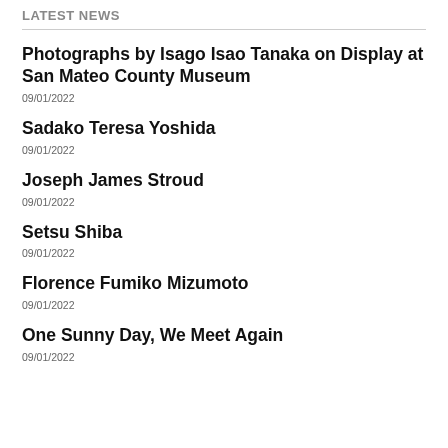LATEST NEWS
Photographs by Isago Isao Tanaka on Display at San Mateo County Museum
09/01/2022
Sadako Teresa Yoshida
09/01/2022
Joseph James Stroud
09/01/2022
Setsu Shiba
09/01/2022
Florence Fumiko Mizumoto
09/01/2022
One Sunny Day, We Meet Again
09/01/2022